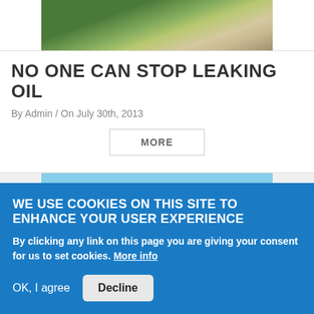[Figure (photo): Aerial photograph of green landscape with paths and sandy areas]
NO ONE CAN STOP LEAKING OIL
By Admin / On July 30th, 2013
MORE
[Figure (photo): Desert landscape with red rock formations and blue sky]
WE USE COOKIES ON THIS SITE TO ENHANCE YOUR USER EXPERIENCE
By clicking any link on this page you are giving your consent for us to set cookies. More info
OK, I agree   Decline